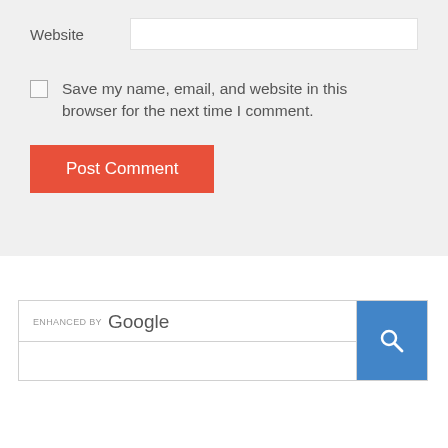Website
Save my name, email, and website in this browser for the next time I comment.
Post Comment
[Figure (screenshot): Enhanced by Google search widget with search input and blue search button]